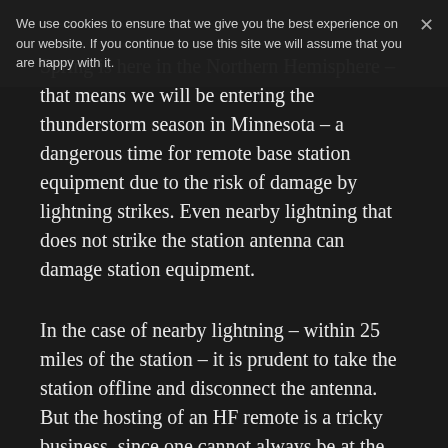We use cookies to ensure that we give you the best experience on our website. If you continue to use this site we will assume that you are happy with it.
Spring is here in the Northern Hemisphere – that means we will be entering the thunderstorm season in Minnesota – a dangerous time for remote base station equipment due to the risk of damage by lightning strikes. Even nearby lightning that does not strike the station antenna can damage station equipment.
In the case of nearby lightning – within 25 miles of the station – it is prudent to take the station offline and disconnect the antenna. But the hosting of an HF remote is a tricky business, since one cannot always be at the station location to take it offline when lightning strikes are nearby. Sometimes bad weather is predicted, but may not arrive for many hours. If the station owner cannot be available during that time frame, the station may have to be offline for an extended period. Since the service is